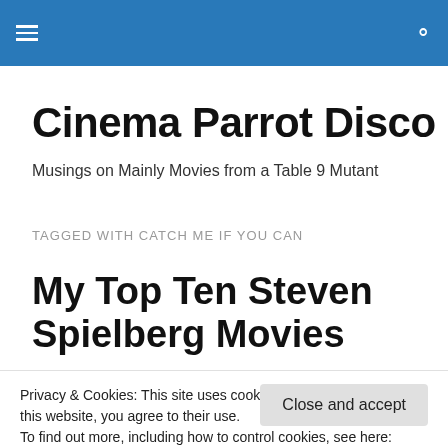Cinema Parrot Disco — navigation header with hamburger menu and search icon
Cinema Parrot Disco
Musings on Mainly Movies from a Table 9 Mutant
TAGGED WITH CATCH ME IF YOU CAN
My Top Ten Steven Spielberg Movies
Privacy & Cookies: This site uses cookies. By continuing to use this website, you agree to their use.
To find out more, including how to control cookies, see here: Cookie Policy
Close and accept